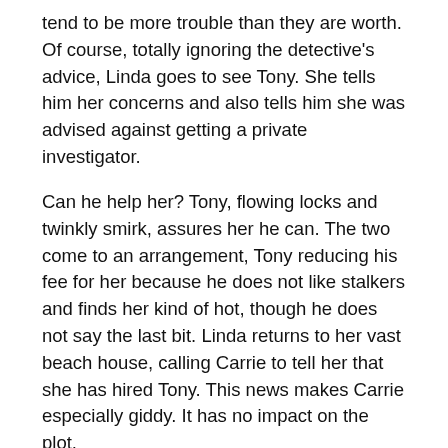tend to be more trouble than they are worth. Of course, totally ignoring the detective's advice, Linda goes to see Tony. She tells him her concerns and also tells him she was advised against getting a private investigator.
Can he help her? Tony, flowing locks and twinkly smirk, assures her he can. The two come to an arrangement, Tony reducing his fee for her because he does not like stalkers and finds her kind of hot, though he does not say the last bit. Linda returns to her vast beach house, calling Carrie to tell her that she has hired Tony. This news makes Carrie especially giddy. It has no impact on the plot.
As evening falls, hoodie guy waits outside Linda's house. He approaches the house armed with a tyre iron. Tony springs into action. Hoodie guy hits